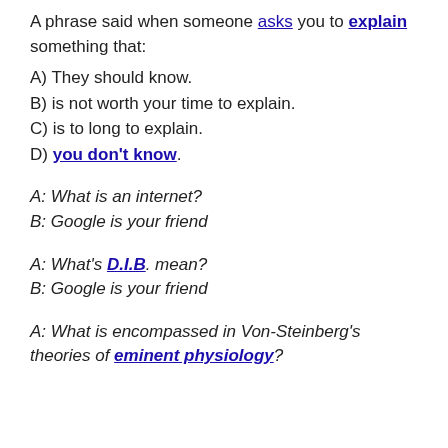A phrase said when someone asks you to explain something that:
A) They should know.
B) is not worth your time to explain.
C) is to long to explain.
D) you don't know.
A: What is an internet?
B: Google is your friend
A: What's D.I.B. mean?
B: Google is your friend
A: What is encompassed in Von-Steinberg's theories of eminent physiology?